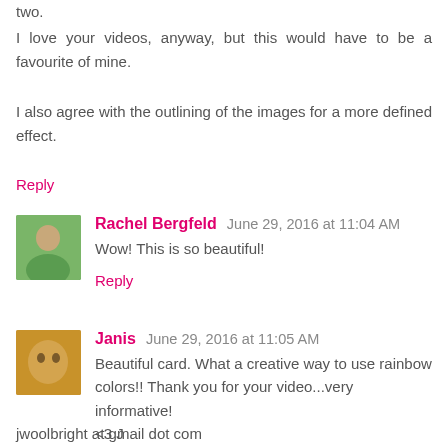two.
I love your videos, anyway, but this would have to be a favourite of mine.
I also agree with the outlining of the images for a more defined effect.
Reply
Rachel Bergfeld  June 29, 2016 at 11:04 AM
Wow! This is so beautiful!
Reply
Janis  June 29, 2016 at 11:05 AM
Beautiful card. What a creative way to use rainbow colors!! Thank you for your video...very informative!
<3 J
jwoolbright at gmail dot com